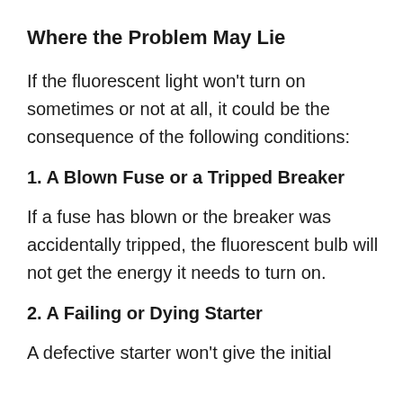Where the Problem May Lie
If the fluorescent light won't turn on sometimes or not at all, it could be the consequence of the following conditions:
1. A Blown Fuse or a Tripped Breaker
If a fuse has blown or the breaker was accidentally tripped, the fluorescent bulb will not get the energy it needs to turn on.
2. A Failing or Dying Starter
A defective starter won't give the initial